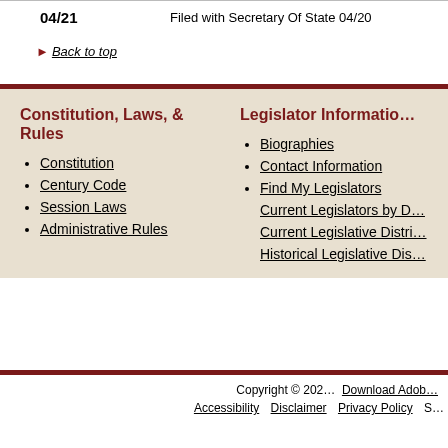| 04/21 | Filed with Secretary Of State 04/20 |
▶ Back to top
Constitution, Laws, & Rules
Constitution
Century Code
Session Laws
Administrative Rules
Legislator Information
Biographies
Contact Information
Find My Legislators
Current Legislators by D...
Current Legislative Distri...
Historical Legislative Dis...
Copyright © 202... | Download Adob... | Accessibility | Disclaimer | Privacy Policy | S...